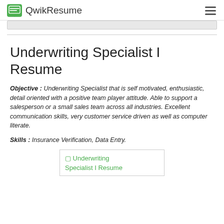QwikResume
Underwriting Specialist I Resume
Objective : Underwriting Specialist that is self motivated, enthusiastic, detail oriented with a positive team player attitude. Able to support a salesperson or a small sales team across all industries. Excellent communication skills, very customer service driven as well as computer literate.
Skills : Insurance Verification, Data Entry.
[Figure (screenshot): Image placeholder showing 'Underwriting Specialist I Resume' in green text with broken image icon]